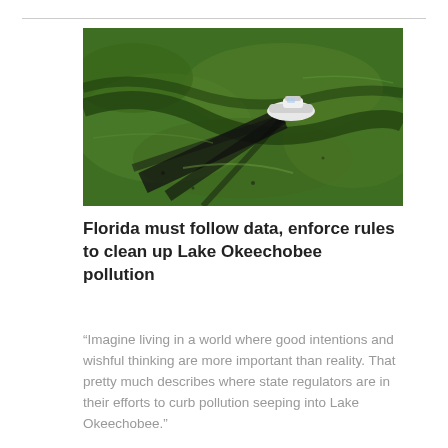[Figure (photo): Aerial view of a boat traveling across Lake Okeechobee, which is covered in thick green algae bloom. The boat leaves a dark wake trail through the bright green surface.]
Florida must follow data, enforce rules to clean up Lake Okeechobee pollution
“Imagine living in a world where good intentions and wishful thinking are more important than reality. That pretty much describes where state regulators are in their efforts to curb pollution seeping into Lake Okeechobee.”